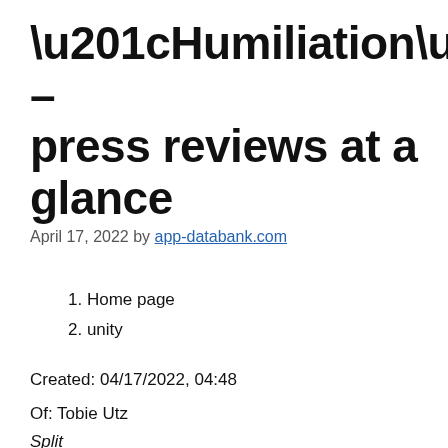“Humiliation” – press reviews at a glance
April 17, 2022 by app-databank.com
1. Home page
2. unity
Created: 04/17/2022, 04:48
Of: Tobie Utz
Split